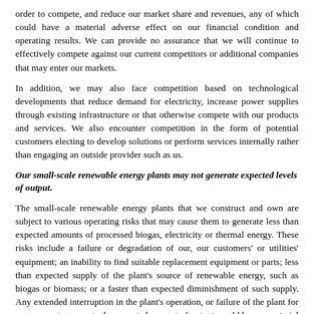order to compete, and reduce our market share and revenues, any of which could have a material adverse effect on our financial condition and operating results. We can provide no assurance that we will continue to effectively compete against our current competitors or additional companies that may enter our markets.
In addition, we may also face competition based on technological developments that reduce demand for electricity, increase power supplies through existing infrastructure or that otherwise compete with our products and services. We also encounter competition in the form of potential customers electing to develop solutions or perform services internally rather than engaging an outside provider such as us.
Our small-scale renewable energy plants may not generate expected levels of output.
The small-scale renewable energy plants that we construct and own are subject to various operating risks that may cause them to generate less than expected amounts of processed biogas, electricity or thermal energy. These risks include a failure or degradation of our, our customers' or utilities' equipment; an inability to find suitable replacement equipment or parts; less than expected supply of the plant's source of renewable energy, such as biogas or biomass; or a faster than expected diminishment of such supply. Any extended interruption in the plant's operation, or failure of the plant for any reason to generate the expected amount of output, could have a material adverse effect on our business and operating results. In addition, we have in the past, and could in the future, incur material asset impairment charges if any of our renewable energy plants incurs operational issues that indicate that our expected future cash flows from the plant are less than its carrying value. Any such impairment charge could have a